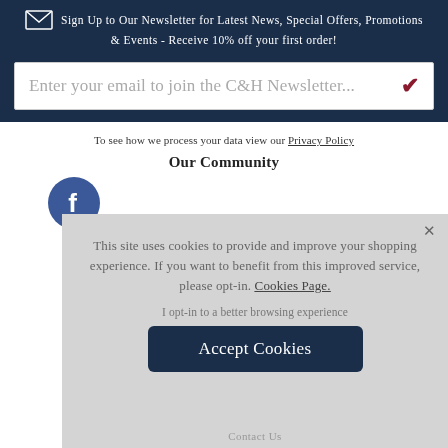Sign Up to Our Newsletter for Latest News, Special Offers, Promotions & Events - Receive 10% off your first order!
Enter your email to join the C&H Newsletter...
To see how we process your data view our Privacy Policy
Our Community
[Figure (infographic): Facebook circle icon (blue with white f)]
This site uses cookies to provide and improve your shopping experience. If you want to benefit from this improved service, please opt-in. Cookies Page.
I opt-in to a better browsing experience
Accept Cookies
Contact Us